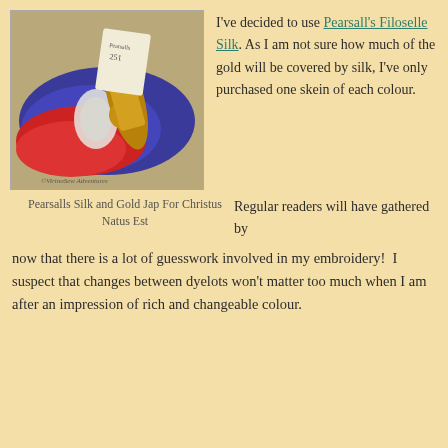[Figure (photo): Photo of colorful silk thread skeins in red and blue/purple with a spool of gold thread, on a light background. Watermark: ©VirtooSew Adventures]
I've decided to use Pearsall's Filoselle Silk. As I am not sure how much of the gold will be covered by silk, I've only purchased one skein of each colour.
Pearsalls Silk and Gold Jap For Christus Natus Est
Regular readers will have gathered by now that there is a lot of guesswork involved in my embroidery!  I suspect that changes between dyelots won't matter too much when I am after an impression of rich and changeable colour.